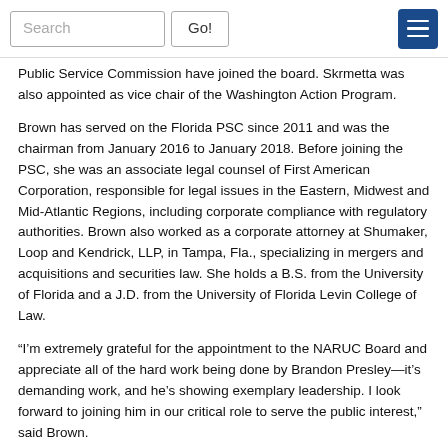Search | Go! [menu]
Public Service Commission have joined the board. Skrmetta was also appointed as vice chair of the Washington Action Program.
Brown has served on the Florida PSC since 2011 and was the chairman from January 2016 to January 2018. Before joining the PSC, she was an associate legal counsel of First American Corporation, responsible for legal issues in the Eastern, Midwest and Mid-Atlantic Regions, including corporate compliance with regulatory authorities. Brown also worked as a corporate attorney at Shumaker, Loop and Kendrick, LLP, in Tampa, Fla., specializing in mergers and acquisitions and securities law. She holds a B.S. from the University of Florida and a J.D. from the University of Florida Levin College of Law.
“I’m extremely grateful for the appointment to the NARUC Board and appreciate all of the hard work being done by Brandon Presley—it’s demanding work, and he’s showing exemplary leadership. I look forward to joining him in our critical role to serve the public interest,” said Brown.
Hill is vice chairman of the Tennessee PUC and served as a commissioner since 2009, including chairman. He is the President and CEO of the nonprofit Appalachian Educational Communication